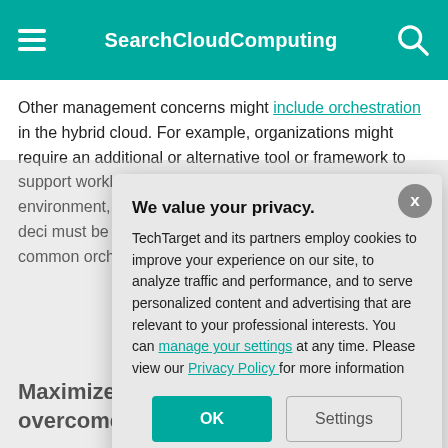SearchCloudComputing
Other management concerns might include orchestration in the hybrid cloud. For example, organizations might require an additional or alternative tool or framework to support workload deployment and migration in a hybrid environment, and that tool or framework must be able to support deployment decisions and must be able to consider on costs, security and downtime of public clouds common orchestration local data center
Maximize hybrid cloud overcome disadvantages
The business wi
We value your privacy.
TechTarget and its partners employ cookies to improve your experience on our site, to analyze traffic and performance, and to serve personalized content and advertising that are relevant to your professional interests. You can manage your settings at any time. Please view our Privacy Policy for more information